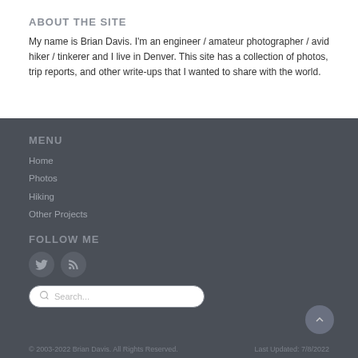ABOUT THE SITE
My name is Brian Davis. I'm an engineer / amateur photographer / avid hiker / tinkerer and I live in Denver. This site has a collection of photos, trip reports, and other write-ups that I wanted to share with the world.
MENU
Home
Photos
Hiking
Other Projects
FOLLOW ME
[Figure (other): Twitter and RSS social media icons (circular dark buttons)]
Search...
© 2003-2022 Brian Davis. All Rights Reserved.    Last Updated: 7/8/2022